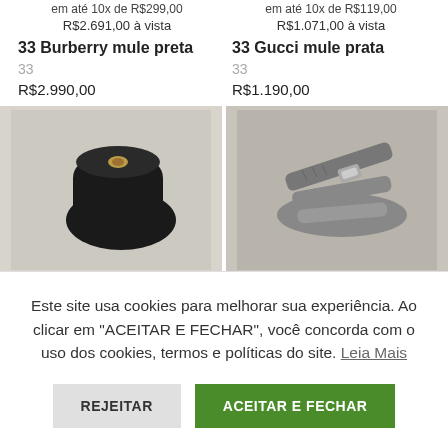em até 10x de R$299,00
R$2.691,00 à vista
33 Burberry mule preta
33
R$2.990,00
em até 10x de R$119,00
R$1.071,00 à vista
33 Gucci mule prata
33
R$1.190,00
[Figure (photo): Black mule shoe (Burberry), top/side view on light beige background]
[Figure (photo): Silver/patterned mule shoe (Gucci), top view on light background]
Este site usa cookies para melhorar sua experiência. Ao clicar em "ACEITAR E FECHAR", você concorda com o uso dos cookies, termos e políticas do site. Leia Mais
REJEITAR
ACEITAR E FECHAR